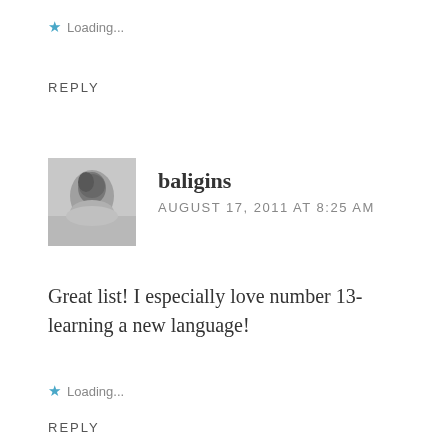★ Loading...
REPLY
[Figure (photo): Small avatar photo of a person, black and white, close-up portrait]
baligins
AUGUST 17, 2011 AT 8:25 AM
Great list! I especially love number 13- learning a new language!
★ Loading...
REPLY